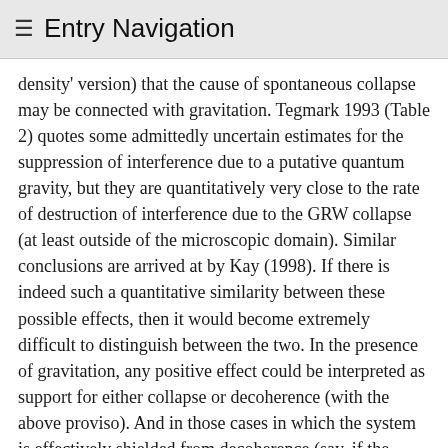≡ Entry Navigation
density' version) that the cause of spontaneous collapse may be connected with gravitation. Tegmark 1993 (Table 2) quotes some admittedly uncertain estimates for the suppression of interference due to a putative quantum gravity, but they are quantitatively very close to the rate of destruction of interference due to the GRW collapse (at least outside of the microscopic domain). Similar conclusions are arrived at by Kay (1998). If there is indeed such a quantitative similarity between these possible effects, then it would become extremely difficult to distinguish between the two. In the presence of gravitation, any positive effect could be interpreted as support for either collapse or decoherence (with the above proviso). And in those cases in which the system is effectively shielded from decoherence (say, if the experiment is performed in free fall), if the collapse mechanism is indeed triggered by gravitational effects, then no collapse should be expected either.
The relation between decoherence and spontaneous